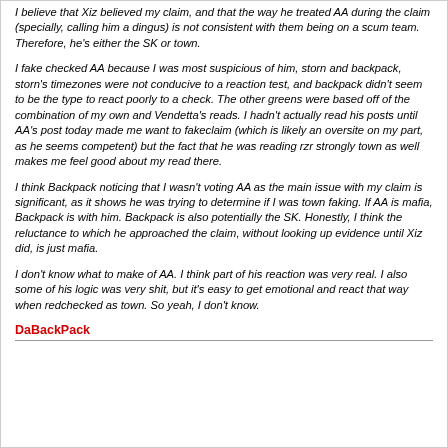I believe that Xiz believed my claim, and that the way he treated AA during the claim (specially, calling him a dingus) is not consistent with them being on a scum team. Therefore, he's either the SK or town.
I fake checked AA because I was most suspicious of him, storn and backpack, storn's timezones were not conducive to a reaction test, and backpack didn't seem to be the type to react poorly to a check. The other greens were based off of the combination of my own and Vendetta's reads. I hadn't actually read his posts until AA's post today made me want to fakeclaim (which is likely an oversite on my part, as he seems competent) but the fact that he was reading rzr strongly town as well makes me feel good about my read there.
I think Backpack noticing that I wasn't voting AA as the main issue with my claim is significant, as it shows he was trying to determine if I was town faking. If AA is mafia, Backpack is with him. Backpack is also potentially the SK. Honestly, I think the reluctance to which he approached the claim, without looking up evidence until Xiz did, is just mafia.
I don't know what to make of AA. I think part of his reaction was very real. I also some of his logic was very shit, but it's easy to get emotional and react that way when redchecked as town. So yeah, I don't know.
DaBackPack